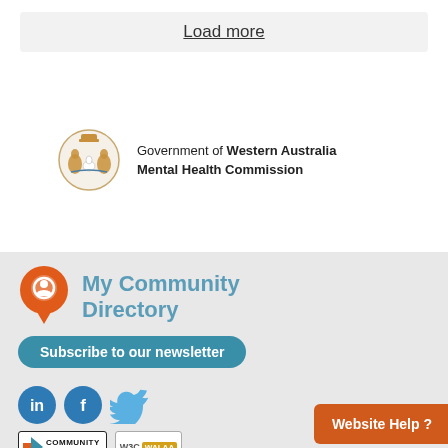Load more
[Figure (logo): Government of Western Australia Mental Health Commission logo with coat of arms]
[Figure (logo): My Community Directory logo with orange map pin icon]
Subscribe to our newsletter
[Figure (logo): Social media icons: LinkedIn, Facebook, Twitter]
[Figure (logo): Community directory badge and WAI-AA accessibility badge]
Website Help ?